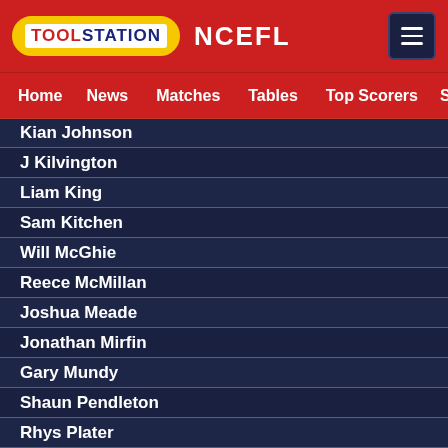TOOLSTATION NCEFL
Home  News  Matches  Tables  Top Scorers  Sta
Kian Johnson
J Kilvington
Liam King
Sam Kitchen
Will McGhie
Reece McMillan
Joshua Meade
Jonathan Mirfin
Gary Mundy
Shaun Pendleton
Rhys Plater
...